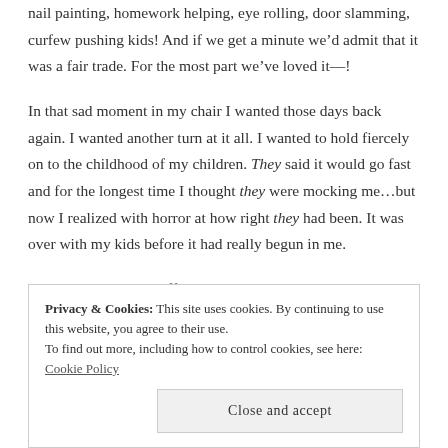nail painting, homework helping, eye rolling, door slamming, curfew pushing kids! And if we get a minute we’d admit that it was a fair trade. For the most part we’ve loved it—!
In that sad moment in my chair I wanted those days back again. I wanted another turn at it all. I wanted to hold fiercely on to the childhood of my children. They said it would go fast and for the longest time I thought they were mocking me…but now I realized with horror at how right they had been. It was over with my kids before it had really begun in me.
As I sat sipping my coffee, which now oddly tasted like nostalgia
Privacy & Cookies: This site uses cookies. By continuing to use this website, you agree to their use.
To find out more, including how to control cookies, see here: Cookie Policy
Close and accept